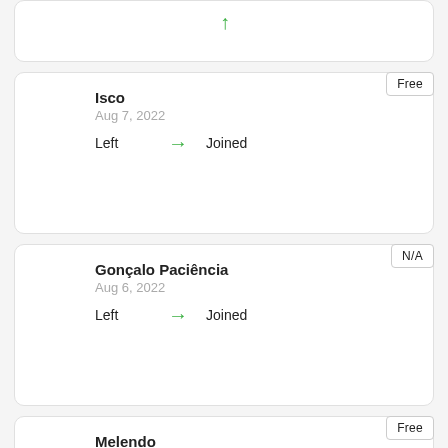Card 1 (partial)
Isco | Aug 7, 2022 | Left → Joined | Free
Gonçalo Paciência | Aug 6, 2022 | Left → Joined | N/A
Melendo | Aug 6, 2022 | Left → Joined | Free